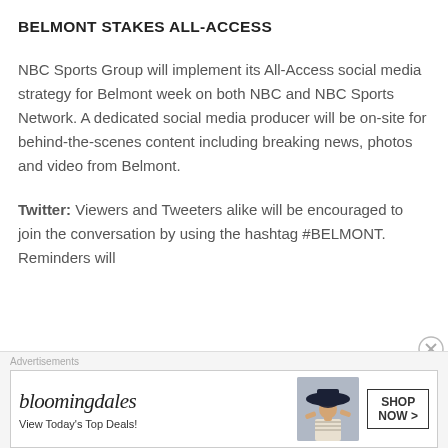BELMONT STAKES ALL-ACCESS
NBC Sports Group will implement its All-Access social media strategy for Belmont week on both NBC and NBC Sports Network. A dedicated social media producer will be on-site for behind-the-scenes content including breaking news, photos and video from Belmont.
Twitter: Viewers and Tweeters alike will be encouraged to join the conversation by using the hashtag #BELMONT. Reminders will
Advertisements
[Figure (illustration): Bloomingdales advertisement banner with logo, 'View Today's Top Deals!' tagline, woman in wide-brim hat, and 'SHOP NOW >' button]